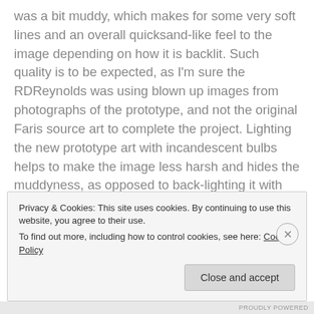was a bit muddy, which makes for some very soft lines and an overall quicksand-like feel to the image depending on how it is backlit. Such quality is to be expected, as I'm sure the RDReynolds was using blown up images from photographs of the prototype, and not the original Faris source art to complete the project. Lighting the new prototype art with incandescent bulbs helps to make the image less harsh and hides the muddyness, as opposed to back-lighting it with more modern LED bulbs. Those interested in buying one for their game, or for their gameroom wall, should contact RDReynolds directly, as a few more remain from his final run (as of writing in
Privacy & Cookies: This site uses cookies. By continuing to use this website, you agree to their use.
To find out more, including how to control cookies, see here: Cookie Policy